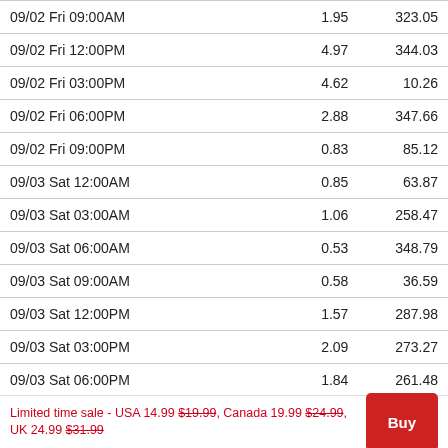| Date/Time | Col2 | Col3 |
| --- | --- | --- |
| 09/02 Fri 09:00AM | 1.95 | 323.05 |
| 09/02 Fri 12:00PM | 4.97 | 344.03 |
| 09/02 Fri 03:00PM | 4.62 | 10.26 |
| 09/02 Fri 06:00PM | 2.88 | 347.66 |
| 09/02 Fri 09:00PM | 0.83 | 85.12 |
| 09/03 Sat 12:00AM | 0.85 | 63.87 |
| 09/03 Sat 03:00AM | 1.06 | 258.47 |
| 09/03 Sat 06:00AM | 0.53 | 348.79 |
| 09/03 Sat 09:00AM | 0.58 | 36.59 |
| 09/03 Sat 12:00PM | 1.57 | 287.98 |
| 09/03 Sat 03:00PM | 2.09 | 273.27 |
| 09/03 Sat 06:00PM | 1.84 | 261.48 |
| 09/03 Sat 09:00PM | 0.99 | 323.6 |
| 09/04 Sun 12:00AM | 1.02 | 310.63 |
Limited time sale - USA 14.99 $19.99, Canada 19.99 $24.99, UK 24.99 $31.99